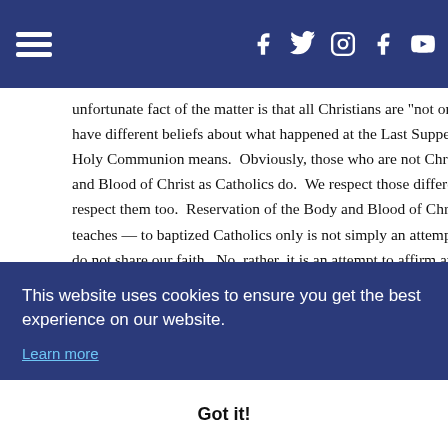Navigation bar with hamburger menu and social media icons (Facebook, Twitter, Instagram, Facebook, YouTube)
unfortunate fact of the matter is that all Christians are “not one.” Di… have different beliefs about what happened at the Last Supper and… Holy Communion means. Obviously, those who are not Christian h… and Blood of Christ as Catholics do. We respect those differences… respect them too. Reservation of the Body and Blood of Christ — a… teaches — to baptized Catholics only is not simply an attempt to re… do not share our faith. No, rather, it is an attempt to affirm and cele… Catholics, beliefs that they do not share. At these special Masses, … clear in a gentle but pastoral way before Holy Communion is distrib…
…on Catholi… not make… d pray with… …os issued t… …ate in the … …raged to re… and frequently. In order to be properly disposed to receive Co…
This website uses cookies to ensure you get the best experience on our website. Learn more
Got it!